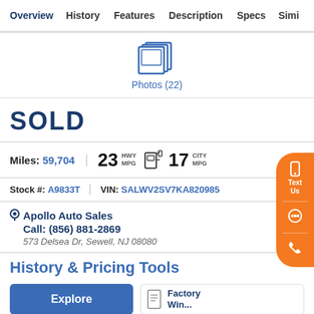Overview  History  Features  Description  Specs  Simi
[Figure (illustration): Photos icon (stacked photo frames)]
Photos (22)
SOLD
Miles: 59,704   23 HWY MPG  [fuel icon]  17 CITY MPG
Stock #: A9833T   VIN: SALWV2SV7KA820985
Apollo Auto Sales
Call: (856) 881-2869
573 Delsea Dr, Sewell, NJ 08080
History & Pricing Tools
Explore  |  Factory Window...